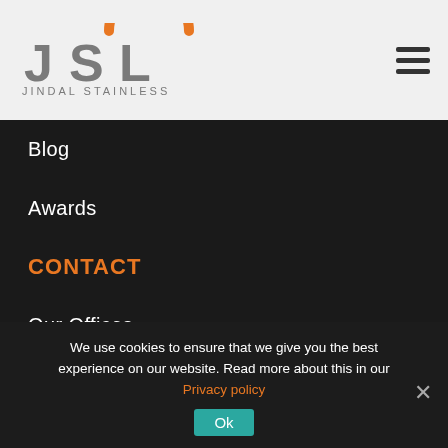[Figure (logo): Jindal Stainless logo with JSL letters in gray and orange arc above, text JINDAL STAINLESS below]
Blog
Awards
CONTACT
Our Offices
Business Query
Customer Login
NEWSLETTER
Sign up to receive our newsletters and latest updates.
We use cookies to ensure that we give you the best experience on our website. Read more about this in our Privacy policy
Ok